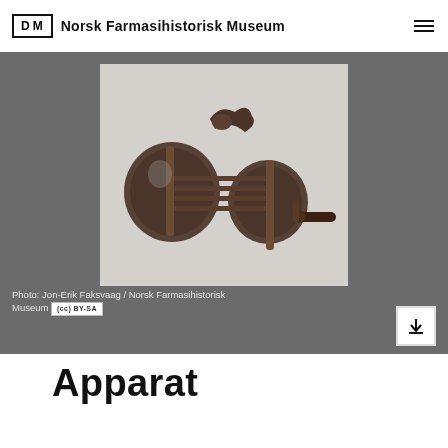DM Norsk Farmasihistorisk Museum
[Figure (photo): Antique metal pill-making apparatus with two circular discs and a wooden handle, photographed on a white background]
Photo: Jon-Erik Faksvaag / Norsk Farmasihistorisk Museum  (cc) BY-SA
Apparat